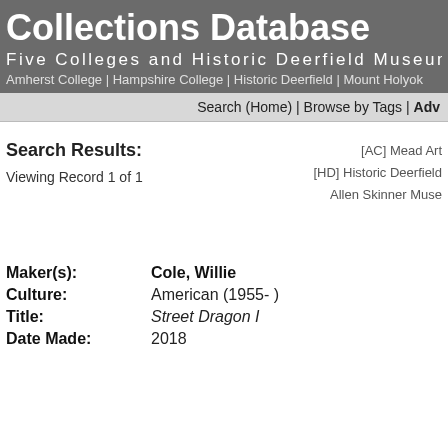Collections Database
Five Colleges and Historic Deerfield Museum
Amherst College | Hampshire College | Historic Deerfield | Mount Holyok
Search (Home) | Browse by Tags | Adv
Search Results:
Viewing Record 1 of 1
[AC] Mead Art
[HD] Historic Deerfield
Allen Skinner Muse
Maker(s): Cole, Willie
Culture: American (1955- )
Title: Street Dragon I
Date Made: 2018